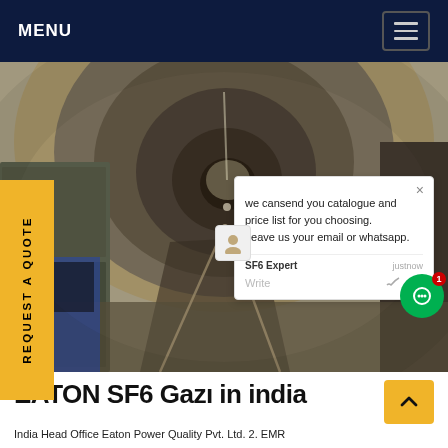MENU
[Figure (photo): View looking down a long curved tunnel with track and lighting on the walls, SF6 equipment visible on the left side. Watermark text 'SF6China' in bottom right corner.]
REQUEST A QUOTE
we cansend you catalogue and price list for you choosing. Leave us your email or whatsapp.
SF6 Expert  justnow
Write
EATON SF6 Gazı in india
India Head Office Eaton Power Quality Pvt. Ltd. 2. EMR